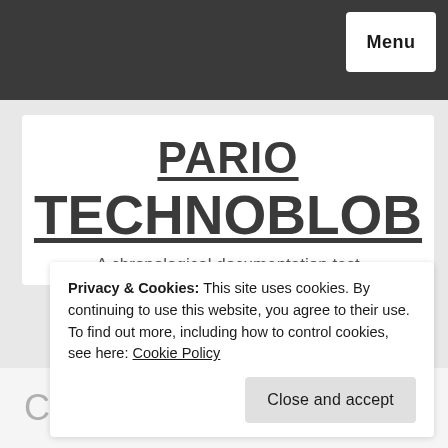Menu
PARIO TECHNOBLOB
A chronological documentation test
Privacy & Cookies: This site uses cookies. By continuing to use this website, you agree to their use.
To find out more, including how to control cookies, see here: Cookie Policy
Close and accept
Crontab explained